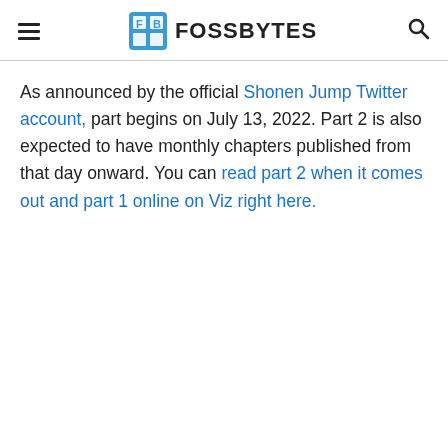FOSSBYTES
As announced by the official Shonen Jump Twitter account, part begins on July 13, 2022. Part 2 is also expected to have monthly chapters published from that day onward. You can read part 2 when it comes out and part 1 online on Viz right here.